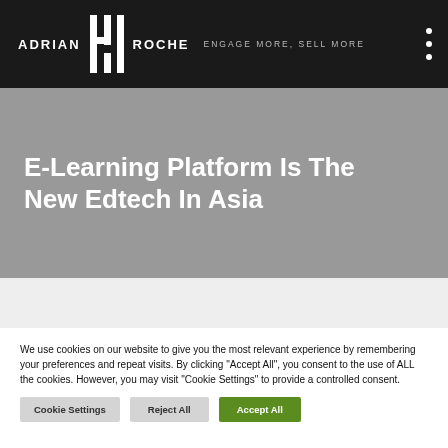ADRIAN ROCHE — ENGAGE MORE, SELL MORE
E-Learning Platform Is The New Edtech In Asia
We use cookies on our website to give you the most relevant experience by remembering your preferences and repeat visits. By clicking "Accept All", you consent to the use of ALL the cookies. However, you may visit "Cookie Settings" to provide a controlled consent.
Cookie Settings
Reject All
Accept All